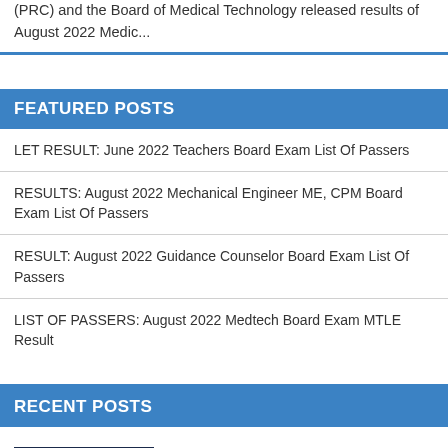(PRC) and the Board of Medical Technology released results of August 2022 Medic...
FEATURED POSTS
LET RESULT: June 2022 Teachers Board Exam List Of Passers
RESULTS: August 2022 Mechanical Engineer ME, CPM Board Exam List Of Passers
RESULT: August 2022 Guidance Counselor Board Exam List Of Passers
LIST OF PASSERS: August 2022 Medtech Board Exam MTLE Result
RECENT POSTS